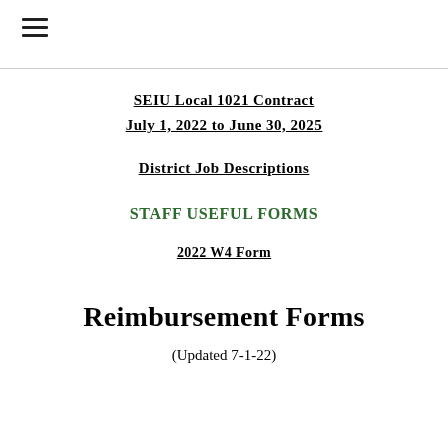≡
SEIU Local 1021 Contract
July 1, 2022 to June 30, 2025
District Job Descriptions
STAFF USEFUL FORMS
2022 W4 Form
Reimbursement Forms
(Updated 7-1-22)